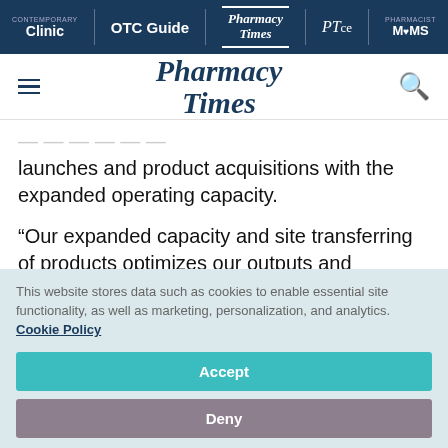Clinic | OTC Guide | Pharmacy Times | PTce | Pharmacist MOMS
Pharmacy Times
launches and product acquisitions with the expanded operating capacity.
“Our expanded capacity and site transferring of products optimizes our outputs and increases
This website stores data such as cookies to enable essential site functionality, as well as marketing, personalization, and analytics. Cookie Policy
Accept
Deny